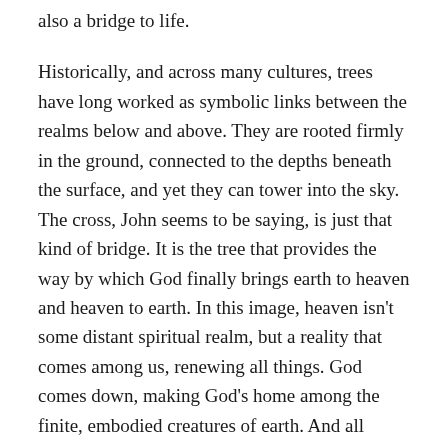also a bridge to life.
Historically, and across many cultures, trees have long worked as symbolic links between the realms below and above. They are rooted firmly in the ground, connected to the depths beneath the surface, and yet they can tower into the sky. The cross, John seems to be saying, is just that kind of bridge. It is the tree that provides the way by which God finally brings earth to heaven and heaven to earth. In this image, heaven isn’t some distant spiritual realm, but a reality that comes among us, renewing all things. God comes down, making God’s home among the finite, embodied creatures of earth. And all creation once again becomes God’s temple.
At the center of all this new reality is a tree that was